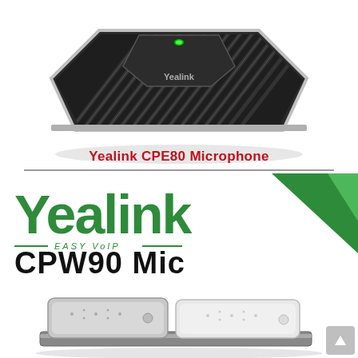[Figure (photo): Yealink CPE80 microphone device — dark hexagonal shape with ribbed vents and green LED indicator, viewed from above at an angle]
Yealink CPE80 Microphone
[Figure (logo): Yealink logo in green with 'Easy VoIP' tagline and 'CPW90 Mic' product name below, with green diagonal banner in top-right corner]
[Figure (photo): Yealink CPW90 Mic wireless microphones — two flat silver rectangular microphone units sitting on a charging base, viewed from the front]